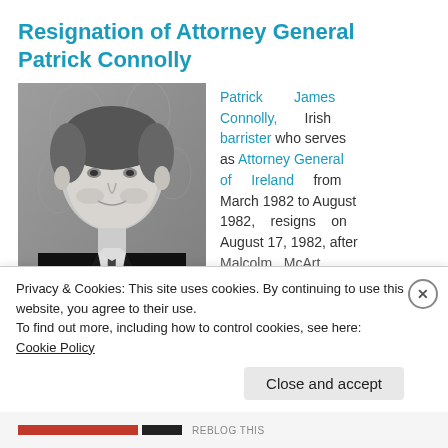Resignation of Attorney General Patrick Connolly
[Figure (photo): Black and white portrait photograph of Patrick James Connolly, an older man in a dark suit and tie, in front of a decorative patterned background.]
Patrick James Connolly, Irish barrister who serves as Attorney General of Ireland from March 1982 to August 1982, resigns on August 17, 1982, after Malcolm McArt...
Privacy & Cookies: This site uses cookies. By continuing to use this website, you agree to their use.
To find out more, including how to control cookies, see here: Cookie Policy
Close and accept